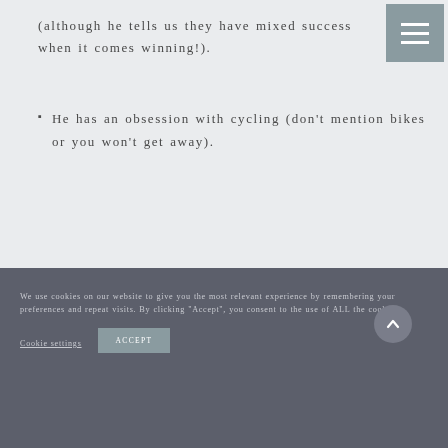(although he tells us they have mixed success when it comes winning!).
He has an obsession with cycling (don't mention bikes or you won't get away).
We use cookies on our website to give you the most relevant experience by remembering your preferences and repeat visits. By clicking "Accept", you consent to the use of ALL the cookies.
Cookie settings
ACCEPT